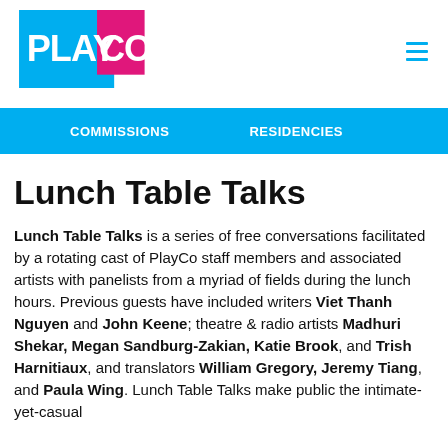[Figure (logo): PlayCo logo with cyan blue and magenta pink square shapes and white text PLAYCO]
COMMISSIONS   RESIDENCIES
Lunch Table Talks
Lunch Table Talks is a series of free conversations facilitated by a rotating cast of PlayCo staff members and associated artists with panelists from a myriad of fields during the lunch hours. Previous guests have included writers Viet Thanh Nguyen and John Keene; theatre & radio artists Madhuri Shekar, Megan Sandburg-Zakian, Katie Brook, and Trish Harnitiaux, and translators William Gregory, Jeremy Tiang, and Paula Wing. Lunch Table Talks make public the intimate-yet-casual